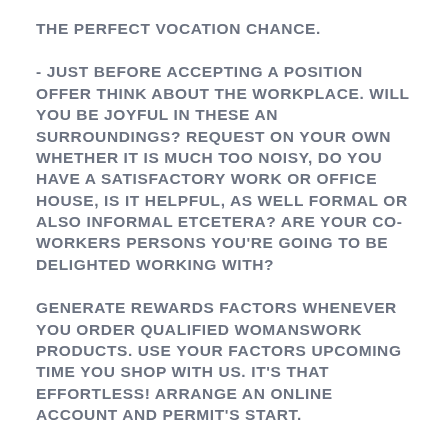THE PERFECT VOCATION CHANCE.
- JUST BEFORE ACCEPTING A POSITION OFFER THINK ABOUT THE WORKPLACE. WILL YOU BE JOYFUL IN THESE AN SURROUNDINGS? REQUEST ON YOUR OWN WHETHER IT IS MUCH TOO NOISY, DO YOU HAVE A SATISFACTORY WORK OR OFFICE HOUSE, IS IT HELPFUL, AS WELL FORMAL OR ALSO INFORMAL ETCETERA? ARE YOUR CO-WORKERS PERSONS YOU'RE GOING TO BE DELIGHTED WORKING WITH?
GENERATE REWARDS FACTORS WHENEVER YOU ORDER QUALIFIED WOMANSWORK PRODUCTS. USE YOUR FACTORS UPCOMING TIME YOU SHOP WITH US. IT'S THAT EFFORTLESS! ARRANGE AN ONLINE ACCOUNT AND PERMIT'S START.